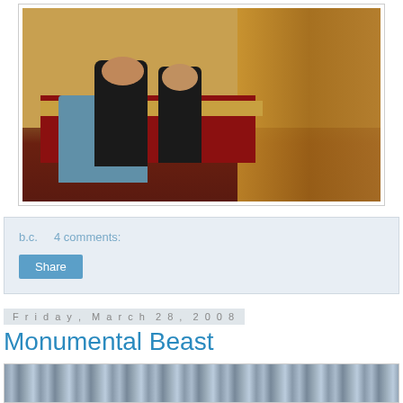[Figure (photo): Interior of a hair salon with women having their hair styled. The room has warm wood-paneled walls, blue salon chairs, a red tablecloth on a desk, and curtains on the right side.]
b.c.    4 comments:
Share
Friday, March 28, 2008
Monumental Beast
[Figure (photo): Partial view of a second photo at the bottom of the page, showing what appears to be a structure or architecture with a blue-gray toned image.]